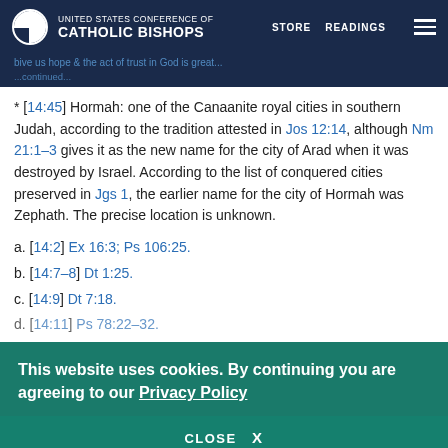United States Conference of Catholic Bishops — STORE  READINGS
* [14:45] Hormah: one of the Canaanite royal cities in southern Judah, according to the tradition attested in Jos 12:14, although Nm 21:1–3 gives it as the new name for the city of Arad when it was destroyed by Israel. According to the list of conquered cities preserved in Jgs 1, the earlier name for the city of Hormah was Zephath. The precise location is unknown.
a. [14:2] Ex 16:3; Ps 106:25.
b. [14:7–8] Dt 1:25.
c. [14:9] Dt 7:18.
d. [14:11] Ps 78:22–32.
This website uses cookies. By continuing you are agreeing to our Privacy Policy
CLOSE  X